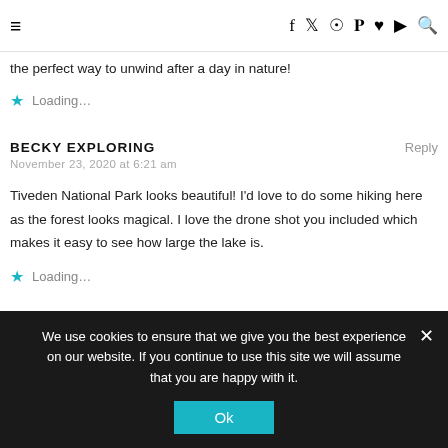≡  f  𝕏  📷  P  ♥  ▶  🔍
the perfect way to unwind after a day in nature!
Loading...
BECKY EXPLORING
November 23, 2020 at 6:21 am
Tiveden National Park looks beautiful! I'd love to do some hiking here as the forest looks magical. I love the drone shot you included which makes it easy to see how large the lake is.
Loading...
We use cookies to ensure that we give you the best experience on our website. If you continue to use this site we will assume that you are happy with it.
Ok